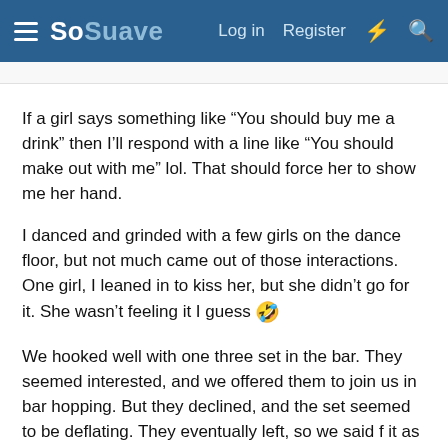SoSuave — Log in  Register
If a girl says something like “You should buy me a drink” then I’ll respond with a line like “You should make out with me” lol. That should force her to show me her hand.
I danced and grinded with a few girls on the dance floor, but not much came out of those interactions. One girl, I leaned in to kiss her, but she didn’t go for it. She wasn’t feeling it I guess 🤣
We hooked well with one three set in the bar. They seemed interested, and we offered them to join us in bar hopping. But they declined, and the set seemed to be deflating. They eventually left, so we said f it as well and went to different venues.
We eventually moved back into street game. The last set of the night, was definitely the most interesting. We hook a two